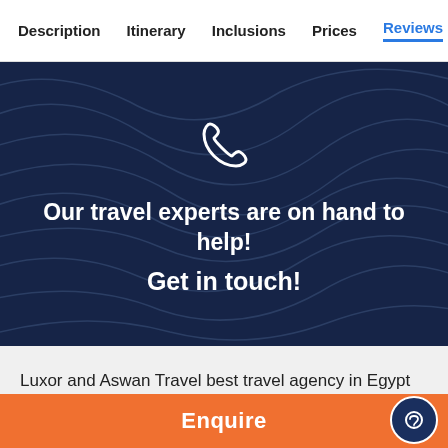Description | Itinerary | Inclusions | Prices | Reviews
[Figure (illustration): Dark navy banner with topographic map line pattern background, white phone handset icon, bold white text reading 'Our travel experts are on hand to help! Get in touch!']
Luxor and Aswan Travel best travel agency in Egypt specialized in providing professional advice on planning
Enquire